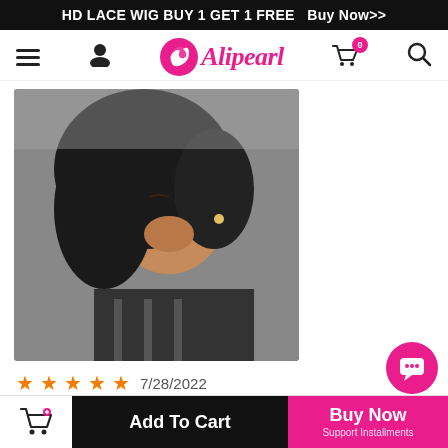HD LACE WIG BUY 1 GET 1 FREE  Buy Now>>
[Figure (logo): Alipearl hair brand logo with pink circular icon and pink italic text 'Alipearl']
[Figure (photo): Photo of a woman wearing a curly black lace wig, shown in profile/side view]
★★★★★  7/28/2022
By B***************
I absolutely love my hair nothing wrong to say it's perfect. sweet. So curly. Looks exactly like the one in the picture. beautiful. will come to buy again
Add To Cart  |  Buy Now Support Installments